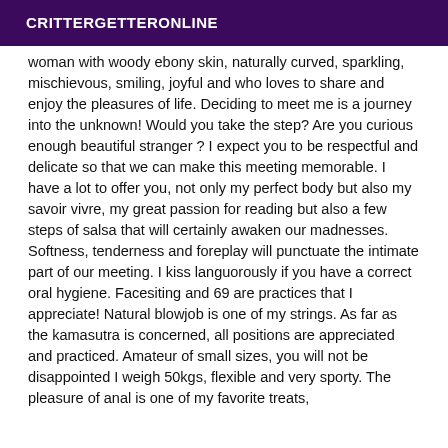CRITTERGETTERONLINE
woman with woody ebony skin, naturally curved, sparkling, mischievous, smiling, joyful and who loves to share and enjoy the pleasures of life. Deciding to meet me is a journey into the unknown! Would you take the step? Are you curious enough beautiful stranger ? I expect you to be respectful and delicate so that we can make this meeting memorable. I have a lot to offer you, not only my perfect body but also my savoir vivre, my great passion for reading but also a few steps of salsa that will certainly awaken our madnesses. Softness, tenderness and foreplay will punctuate the intimate part of our meeting. I kiss languorously if you have a correct oral hygiene. Facesiting and 69 are practices that I appreciate! Natural blowjob is one of my strings. As far as the kamasutra is concerned, all positions are appreciated and practiced. Amateur of small sizes, you will not be disappointed I weigh 50kgs, flexible and very sporty. The pleasure of anal is one of my favorite treats,